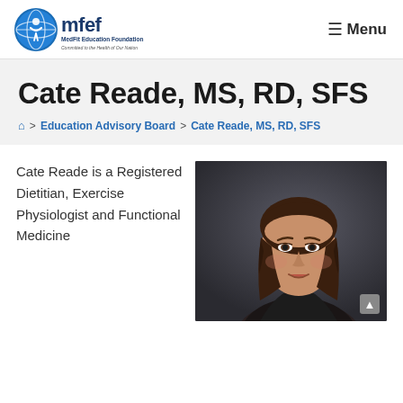[Figure (logo): MFEF MedFit Education Foundation logo — circular blue globe icon with stylized figure, navy blue 'mfef' text, and tagline 'Committed to the Health of Our Nation']
☰ Menu
Cate Reade, MS, RD, SFS
🏠 > Education Advisory Board > Cate Reade, MS, RD, SFS
Cate Reade is a Registered Dietitian, Exercise Physiologist and Functional Medicine
[Figure (photo): Professional headshot of Cate Reade, a woman with dark brown hair, wearing a dark top, against a dark background]